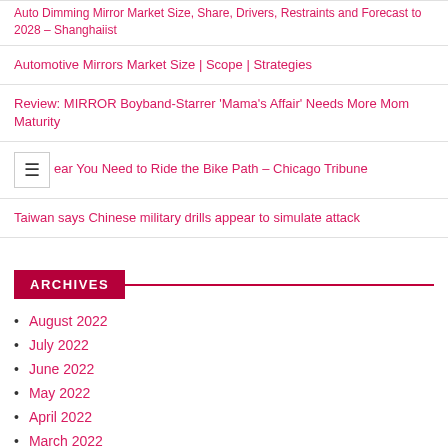Auto Dimming Mirror Market Size, Share, Drivers, Restraints and Forecast to 2028 – Shanghaiist
Automotive Mirrors Market Size | Scope | Strategies
Review: MIRROR Boyband-Starrer 'Mama's Affair' Needs More Mom Maturity
ear You Need to Ride the Bike Path – Chicago Tribune
Taiwan says Chinese military drills appear to simulate attack
ARCHIVES
August 2022
July 2022
June 2022
May 2022
April 2022
March 2022
February 2022